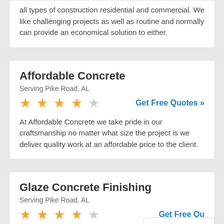all types of construction residential and commercial. We like challenging projects as well as routine and normally can provide an economical solution to either.
Affordable Concrete
Serving Pike Road, AL
★★★★☆  Get Free Quotes »
At Affordable Concrete we take pride in our craftsmanship no matter what size the project is we deliver quality work at an affordable price to the client.
Glaze Concrete Finishing
Serving Pike Road, AL
★★★½☆  Get Free Qu…
We have 30 years experience in concrete construction. Our